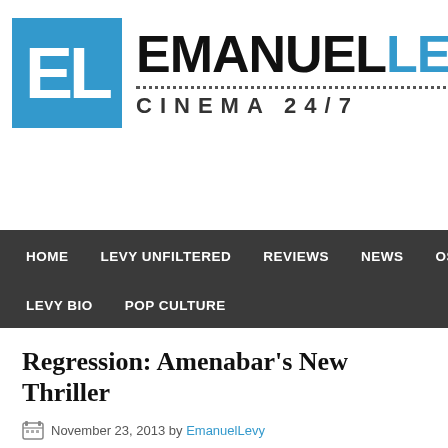[Figure (logo): EmanuelLevy Cinema 24/7 logo with blue EL box and black/blue text]
HOME   LEVY UNFILTERED   REVIEWS   NEWS   OSCA
LEVY BIO   POP CULTURE
Regression: Amenabar's New Thriller
November 23, 2013 by EmanuelLevy
Nov 21, 2013–Bob and Harvey Weinstein announced that they have pre distribute the upcoming thriller REGRESSION in the United States. The directed by auteur Alejandro Amenabar, will star Ethan Hawke (THE PU and be released under the new moniker TWC-Dimension in 2015. REGI Amenabar to the thriller genre, where he and Dimension previously had OTHERS, which grossed over $200 million worldwide and starred Nicole
The studio is in discussions to purchase...